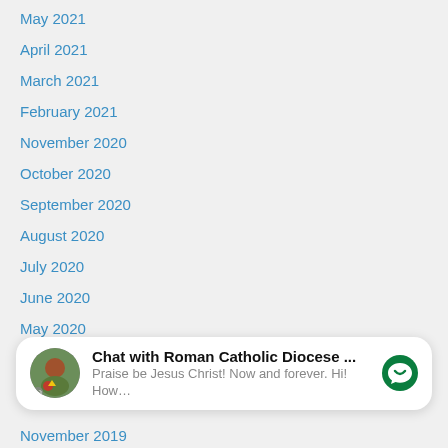May 2021
April 2021
March 2021
February 2021
November 2020
October 2020
September 2020
August 2020
July 2020
June 2020
May 2020
April 2020
[Figure (screenshot): Chat widget: Chat with Roman Catholic Diocese ... Praise be Jesus Christ! Now and forever. Hi! How...]
November 2019